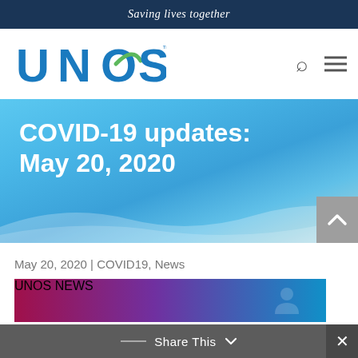Saving lives together
[Figure (logo): UNOS logo with blue text and green swoosh]
COVID-19 updates: May 20, 2020
May 20, 2020 | COVID19, News
[Figure (screenshot): Partial preview of UNOS NEWS article image with magenta-to-blue gradient and person icon]
Share This